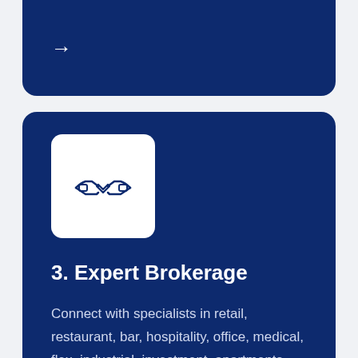[Figure (other): Arrow icon on dark blue card at top]
[Figure (illustration): Handshake icon in white rounded square box on dark blue card]
3. Expert Brokerage
Connect with specialists in retail, restaurant, bar, hospitality, office, medical, flex, industrial, investment, apartments, multifamily, municipal, and vacant land.